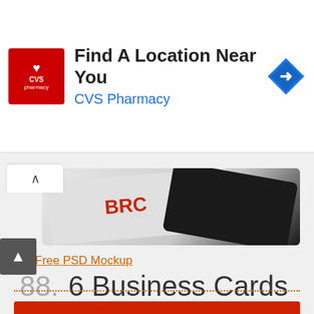[Figure (screenshot): CVS Pharmacy advertisement banner with red CVS logo, text 'Find A Location Near You' and 'CVS Pharmacy' in blue, and a blue navigation arrow icon on the right]
[Figure (photo): Partial view of business card mockup showing cards at an angle, white and dark colored cards with red text visible]
Free PSD Mockup
88.  6 Business Cards Mock Up